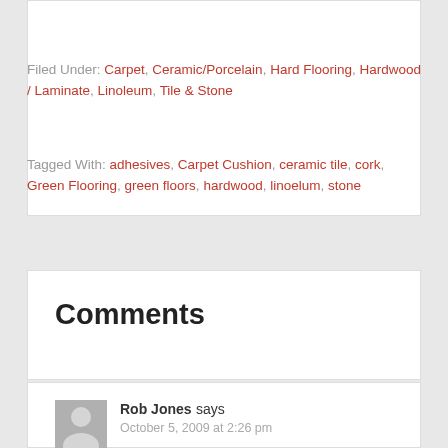Filed Under: Carpet, Ceramic/Porcelain, Hard Flooring, Hardwood / Laminate, Linoleum, Tile & Stone
Tagged With: adhesives, Carpet Cushion, ceramic tile, cork, Green Flooring, green floors, hardwood, linoelum, stone
Comments
Rob Jones says
October 5, 2009 at 2:26 pm